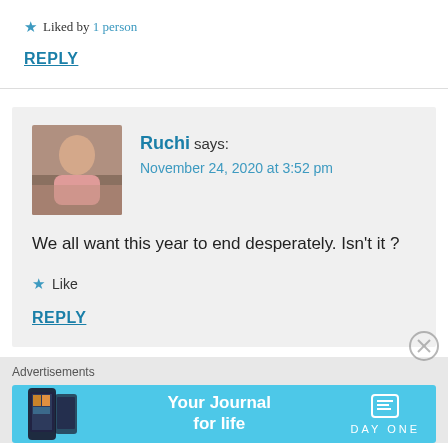★ Liked by 1 person
REPLY
Ruchi says:
November 24, 2020 at 3:52 pm
We all want this year to end desperately. Isn't it ?
★ Like
REPLY
Advertisements
[Figure (other): Day One app advertisement banner with 'Your Journal for life' text on a blue background with phone image and Day One logo]